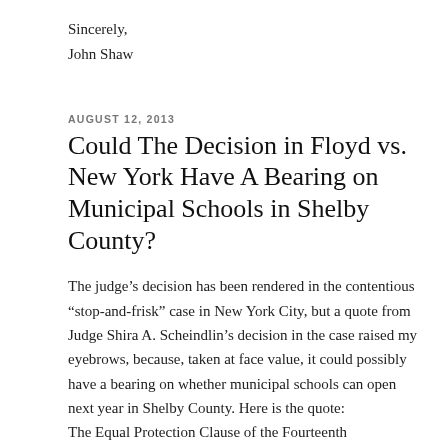Sincerely,
John Shaw
AUGUST 12, 2013
Could The Decision in Floyd vs. New York Have A Bearing on Municipal Schools in Shelby County?
The judge's decision has been rendered in the contentious “stop-and-frisk” case in New York City, but a quote from Judge Shira A. Scheindlin’s decision in the case raised my eyebrows, because, taken at face value, it could possibly have a bearing on whether municipal schools can open next year in Shelby County. Here is the quote:
The Equal Protection Clause of the Fourteenth Amendment guarantees to every